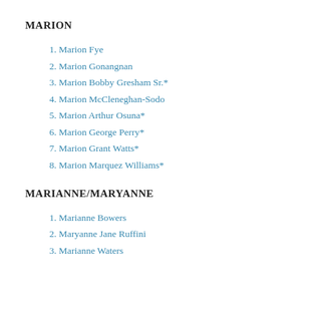MARION
Marion Fye
Marion Gonangnan
Marion Bobby Gresham Sr.*
Marion McCleneghan-Sodo
Marion Arthur Osuna*
Marion George Perry*
Marion Grant Watts*
Marion Marquez Williams*
MARIANNE/MARYANNE
Marianne Bowers
Maryanne Jane Ruffini
Marianne Waters